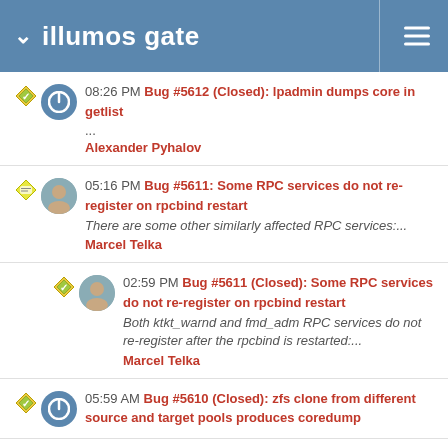illumos gate
08:26 PM Bug #5612 (Closed): lpadmin dumps core in getlist
...
Alexander Pyhalov
05:16 PM Bug #5611: Some RPC services do not re-register on rpcbind restart
There are some other similarly affected RPC services:...
Marcel Telka
02:59 PM Bug #5611 (Closed): Some RPC services do not re-register on rpcbind restart
Both ktkt_warnd and fmd_adm RPC services do not re-register after the rpcbind is restarted:...
Marcel Telka
05:59 AM Bug #5610 (Closed): zfs clone from different source and target pools produces coredump